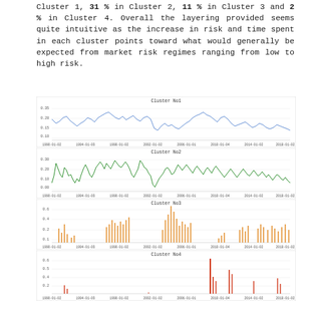Cluster 1, 31 % in Cluster 2, 11 % in Cluster 3 and 2 % in Cluster 4. Overall the layering provided seems quite intuitive as the increase in risk and time spent in each cluster points toward what would generally be expected from market risk regimes ranging from low to high risk.
[Figure (continuous-plot): Time series line chart for Cluster No1 (blue) from 1990 to 2019, y-axis approximately 0.10 to 0.35]
[Figure (continuous-plot): Time series line chart for Cluster No2 (green) from 1990 to 2019, y-axis approximately 0.00 to 0.30]
[Figure (continuous-plot): Time series line chart for Cluster No3 (orange) from 1990 to 2019, y-axis approximately 0.1 to 0.6, sparse spikes]
[Figure (continuous-plot): Time series line chart for Cluster No4 (red) from 1990 to 2019, y-axis approximately 0.2 to 0.6, very sparse spikes with one large spike around 2010]